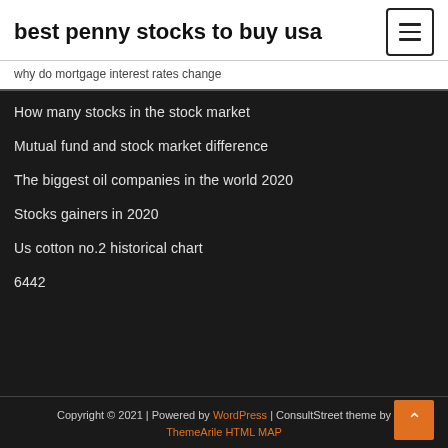best penny stocks to buy usa
why do mortgage interest rates change
How many stocks in the stock market
Mutual fund and stock market difference
The biggest oil companies in the world 2020
Stocks gainers in 2020
Us cotton no.2 historical chart
6442
Copyright © 2021 | Powered by WordPress | ConsultStreet theme by ThemeArile HTML MAP